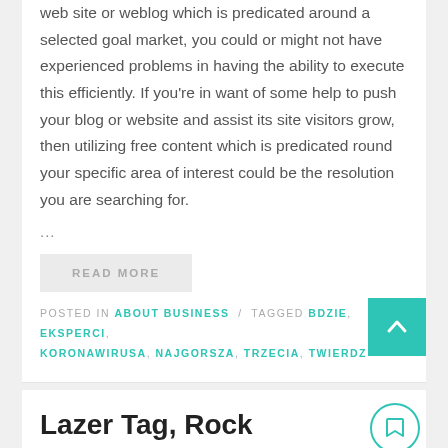web site or weblog which is predicated around a selected goal market, you could or might not have experienced problems in having the ability to execute this efficiently. If you're in want of some help to push your blog or website and assist its site visitors grow, then utilizing free content which is predicated round your specific area of interest could be the resolution you are searching for.
...
READ MORE
POSTED IN ABOUT BUSINESS / TAGGED BDZIE, EKSPERCI, KORONAWIRUSA, NAJGORSZA, TRZECIA, TWIERDZ
Lazer Tag, Rock